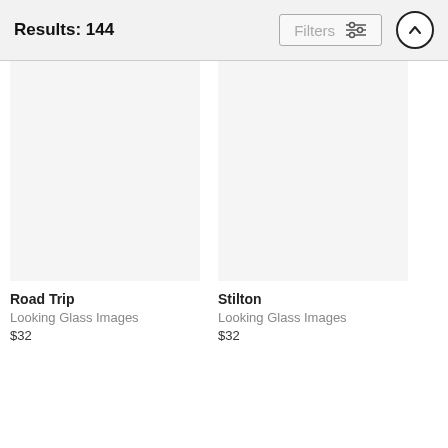Results: 144
Road Trip
Looking Glass Images
$32
Stilton
Looking Glass Images
$32